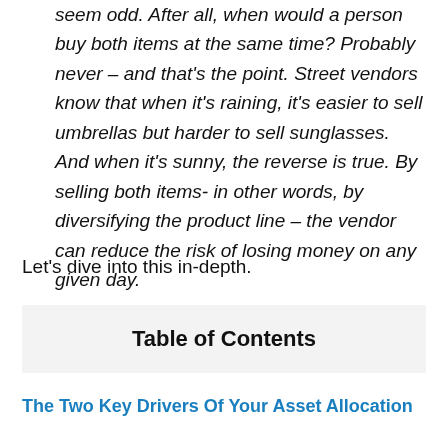seem odd. After all, when would a person buy both items at the same time? Probably never – and that's the point. Street vendors know that when it's raining, it's easier to sell umbrellas but harder to sell sunglasses. And when it's sunny, the reverse is true. By selling both items- in other words, by diversifying the product line – the vendor can reduce the risk of losing money on any given day.
Let's dive into this in-depth.
Table of Contents
The Two Key Drivers Of Your Asset Allocation